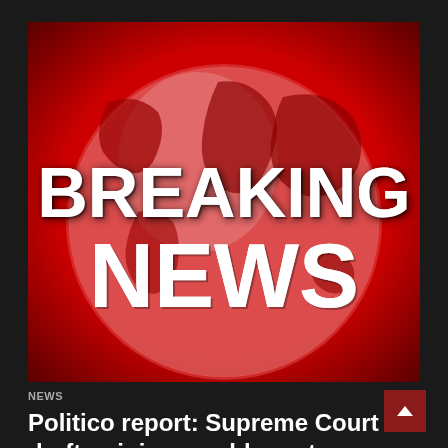[Figure (illustration): Breaking News graphic with a red background, globe imagery showing world map in darker red tones, and bold white text reading 'BREAKING NEWS' in large impact-style font.]
NEWS
Politico report: Supreme Court draft opinion would overturn Roe ...